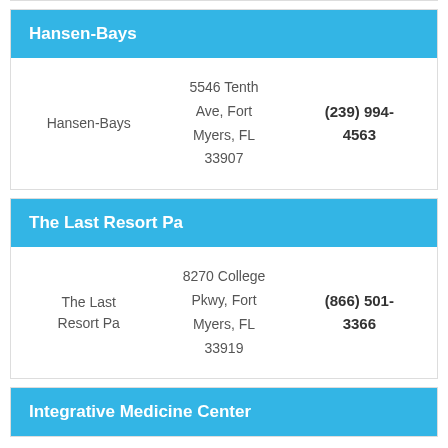Hansen-Bays
| Name | Address | Phone |
| --- | --- | --- |
| Hansen-Bays | 5546 Tenth Ave, Fort Myers, FL 33907 | (239) 994-4563 |
The Last Resort Pa
| Name | Address | Phone |
| --- | --- | --- |
| The Last Resort Pa | 8270 College Pkwy, Fort Myers, FL 33919 | (866) 501-3366 |
Integrative Medicine Center